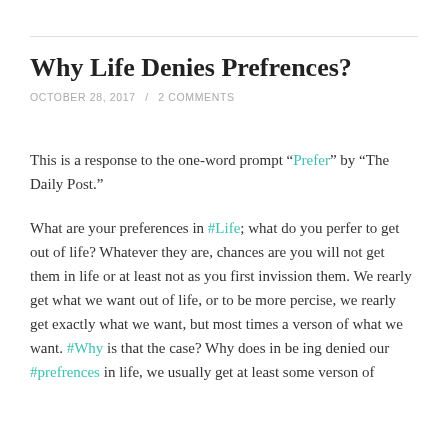Why Life Denies Prefrences?
OCTOBER 28, 2017 / 2 COMMENTS
This is a response to the one-word prompt “Prefer” by “The Daily Post.”
What are your preferences in #Life; what do you perfer to get out of life? Whatever they are, chances are you will not get them in life or at least not as you first invission them. We rearly get what we want out of life, or to be more percise, we rearly get exactly what we want, but most times a verson of what we want. #Why is that the case? Why does in be ing denied our #prefrences in life, we usually get at least some verson of